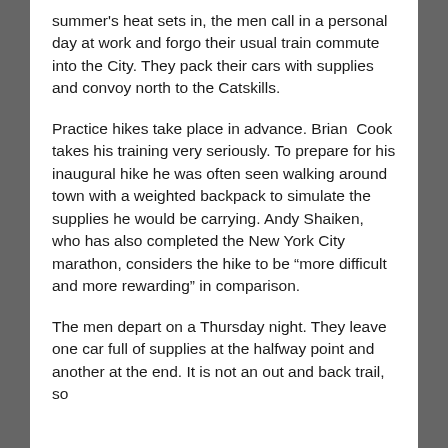summer's heat sets in, the men call in a personal day at work and forgo their usual train commute into the City. They pack their cars with supplies and convoy north to the Catskills.
Practice hikes take place in advance. Brian Cook takes his training very seriously. To prepare for his inaugural hike he was often seen walking around town with a weighted backpack to simulate the supplies he would be carrying. Andy Shaiken, who has also completed the New York City marathon, considers the hike to be “more difficult and more rewarding” in comparison.
The men depart on a Thursday night. They leave one car full of supplies at the halfway point and another at the end. It is not an out and back trail, so